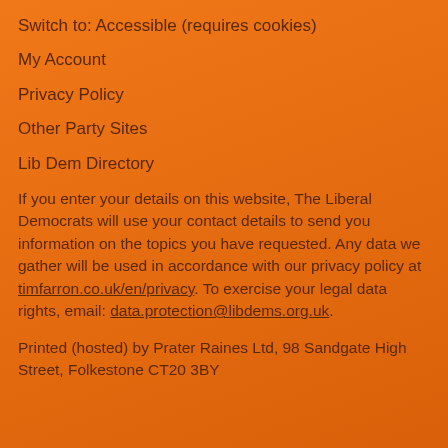Switch to: Accessible (requires cookies)
My Account
Privacy Policy
Other Party Sites
Lib Dem Directory
If you enter your details on this website, The Liberal Democrats will use your contact details to send you information on the topics you have requested. Any data we gather will be used in accordance with our privacy policy at timfarron.co.uk/en/privacy. To exercise your legal data rights, email: data.protection@libdems.org.uk.
Printed (hosted) by Prater Raines Ltd, 98 Sandgate High Street, Folkestone CT20 3BY